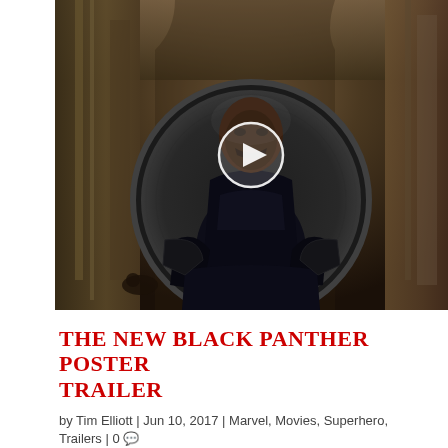[Figure (photo): Movie still from Black Panther showing the protagonist in a black suit seated on a throne-like chair with a large circular disc behind him, in an ornate palace setting. A white play button circle overlay is centered on the image.]
THE NEW BLACK PANTHER POSTER TRAILER
by Tim Elliott | Jun 10, 2017 | Marvel, Movies, Superhero, Trailers | 0
The first trailer from Marvel's Black Panther...